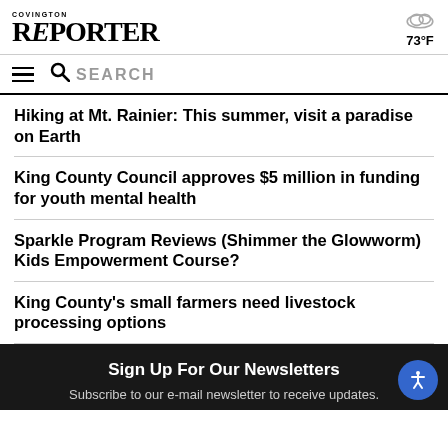COVINGTON REPORTER — 73°F
Hiking at Mt. Rainier: This summer, visit a paradise on Earth
King County Council approves $5 million in funding for youth mental health
Sparkle Program Reviews (Shimmer the Glowworm) Kids Empowerment Course?
King County's small farmers need livestock processing options
Sign Up For Our Newsletters
Subscribe to our e-mail newsletter to receive updates.